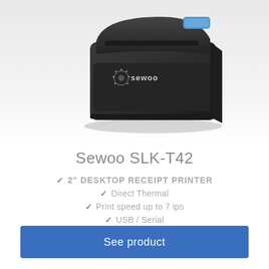[Figure (photo): A Sewoo branded black thermal receipt printer, viewed from above-left angle, showing the top paper feed area with a blue lever, and the front face with Sewoo logo. Dark background fading to white at bottom.]
Sewoo SLK-T42
2" DESKTOP RECEIPT PRINTER
Direct Thermal
Print speed up to 7 ips
USB / Serial
See product